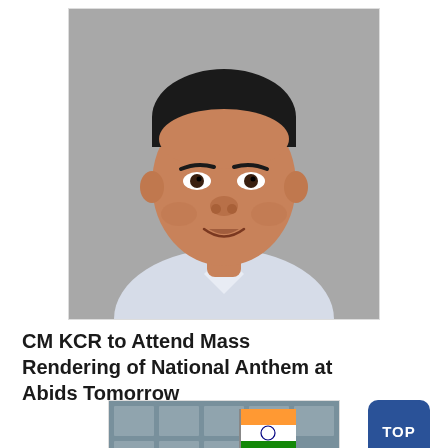[Figure (photo): Portrait photo of CM KCR (K. Chandrashekar Rao), a middle-aged Indian man with dark hair, wearing a white collared shirt, against a grey background, smiling slightly]
CM KCR to Attend Mass Rendering of National Anthem at Abids Tomorrow
[Figure (photo): Partial view of a building with an Indian flag (tricolor) visible, architectural glass facade]